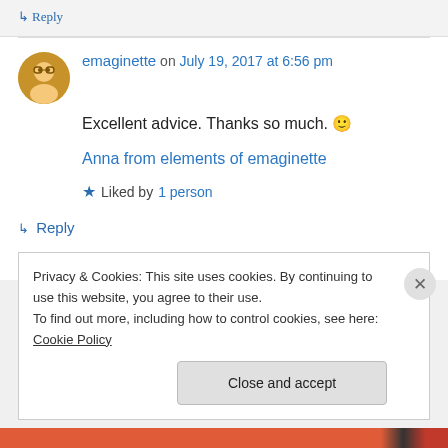↳ Reply
emaginette on July 19, 2017 at 6:56 pm
Excellent advice. Thanks so much. 🙂
Anna from elements of emaginette
★ Liked by 1 person
↳ Reply
Privacy & Cookies: This site uses cookies. By continuing to use this website, you agree to their use.
To find out more, including how to control cookies, see here: Cookie Policy
Close and accept